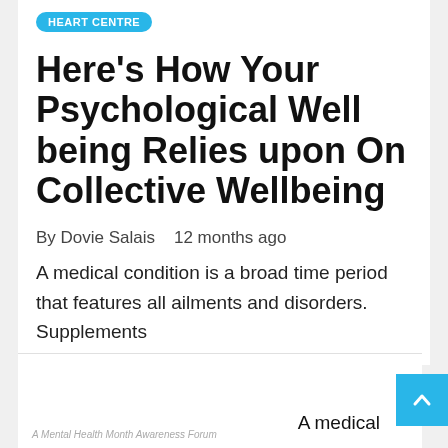HEART CENTRE
Here's How Your Psychological Wellbeing Relies upon On Collective Wellbeing
By Dovie Salais   12 months ago
A medical condition is a broad time period that features all ailments and disorders. Supplements
A Mental Health Month Awareness Forum
A medical